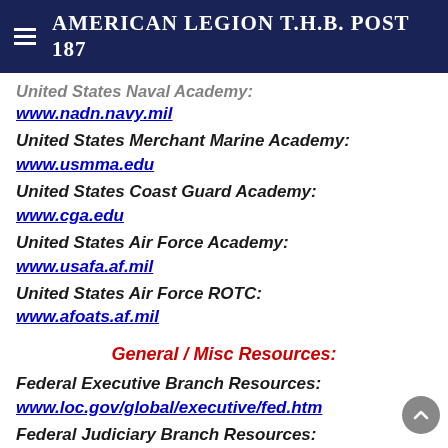AMERICAN LEGION T.H.B. POST 187
United States Naval Academy:
www.nadn.navy.mil
United States Merchant Marine Academy:
www.usmma.edu
United States Coast Guard Academy:
www.cga.edu
United States Air Force Academy:
www.usafa.af.mil
United States Air Force ROTC:
www.afoats.af.mil
General / Misc Resources:
Federal Executive Branch Resources:
www.loc.gov/global/executive/fed.htm
Federal Judiciary Branch Resources: